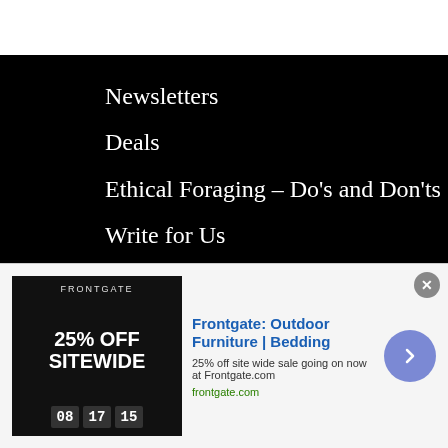Newsletters
Deals
Ethical Foraging – Do's and Don'ts
Write for Us
Partner, Advertising & Commercial Relationships
Affiliate Agreement
Affiliate Disclosure
Privacy Policy
Terms of Use
[Figure (infographic): Advertisement banner for Frontgate: Outdoor Furniture | Bedding. Shows 25% off site wide sale going on now at Frontgate.com. Includes dark image with offer text, ad title in blue, description, URL in green, close button, and navigation arrow.]